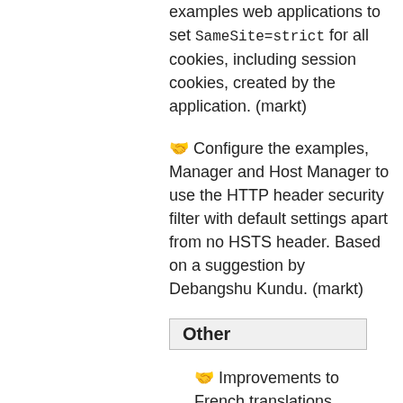🤝 Configure the examples web applications to set SameSite=strict for all cookies, including session cookies, created by the application. (markt)
🤝 Configure the examples, Manager and Host Manager to use the HTTP header security filter with default settings apart from no HSTS header. Based on a suggestion by Debangshu Kundu. (markt)
Other
🤝 Improvements to French translations. (remm)
🤝 Improvements to Korean translations. (woonsap)